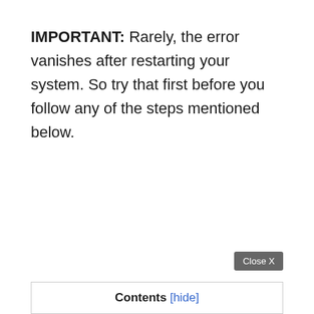IMPORTANT: Rarely, the error vanishes after restarting your system. So try that first before you follow any of the steps mentioned below.
Close X
Contents [hide]